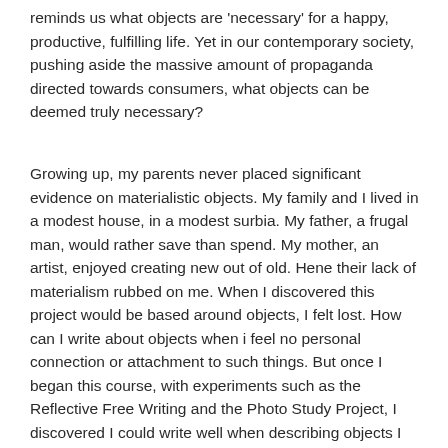reminds us what objects are 'necessary' for a happy, productive, fulfilling life. Yet in our contemporary society, pushing aside the massive amount of propaganda directed towards consumers, what objects can be deemed truly necessary?
Growing up, my parents never placed significant evidence on materialistic objects. My family and I lived in a modest house, in a modest surbia. My father, a frugal man, would rather save than spend. My mother, an artist, enjoyed creating new out of old. Hene their lack of materialism rubbed on me. When I discovered this project would be based around objects, I felt lost. How can I write about objects when i feel no personal connection or attachment to such things. But once I began this course, with experiments such as the Reflective Free Writing and the Photo Study Project, I discovered I could write well when describing objects I developed a connection with. These connections I developed with objects formed through different reasons. Some objects such as the blacket my